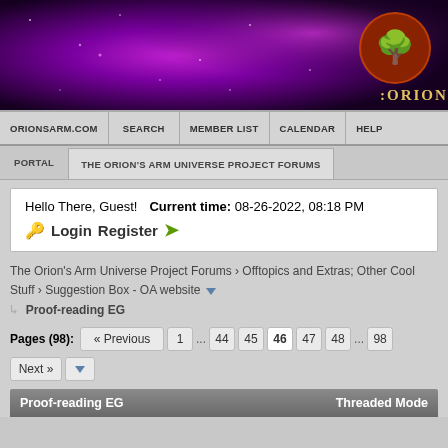[Figure (illustration): Purple/magenta space nebula banner with Orion's Arm logo (orange tree in circle) and ':ORION' text on right side]
ORIONSARM.COM | SEARCH | MEMBER LIST | CALENDAR | HELP
PORTAL | THE ORION'S ARM UNIVERSE PROJECT FORUMS
Hello There, Guest! Current time: 08-26-2022, 08:18 PM
🔑 Login  Register ➤
The Orion's Arm Universe Project Forums › Offtopics and Extras; Other Cool Stuff › Suggestion Box - OA website ▼
↳ Proof-reading EG
Pages (98): « Previous  1  ...  44  45  46  47  48  ...  98
Next »  ▼
Proof-reading EG  Threaded Mode